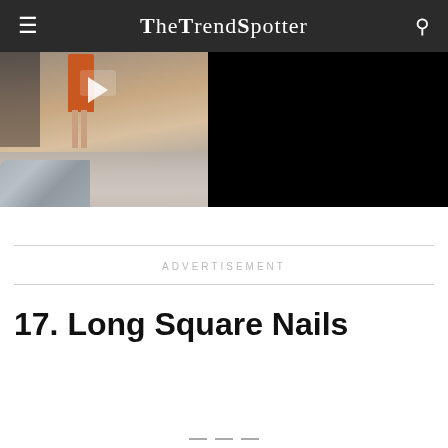TheTrendSpotter
[Figure (photo): Fashion runway video thumbnail showing a model in an orange garment on a runway, with black area on the right side. A play button is visible indicating a video.]
ADVERTISEMENT
17. Long Square Nails